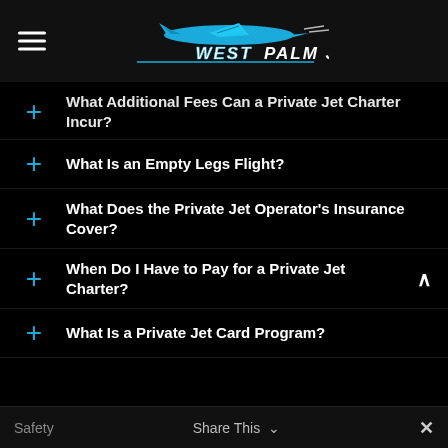West Palm Jets
What Additional Fees Can a Private Jet Charter Incur?
What Is an Empty Legs Flight?
What Does the Private Jet Operator's Insurance Cover?
When Do I Have to Pay for a Private Jet Charter?
What Is a Private Jet Card Program?
Safety   Share This   ✕